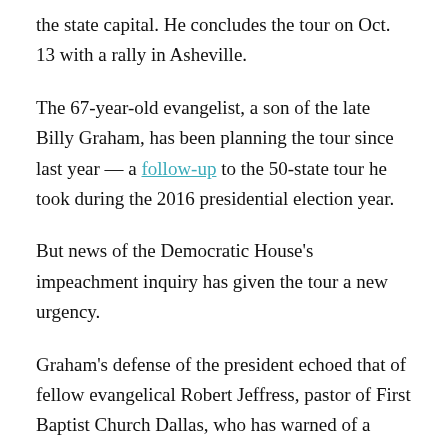the state capital. He concludes the tour on Oct. 13 with a rally in Asheville.
The 67-year-old evangelist, a son of the late Billy Graham, has been planning the tour since last year — a follow-up to the 50-state tour he took during the 2016 presidential election year.
But news of the Democratic House's impeachment inquiry has given the tour a new urgency.
Graham's defense of the president echoed that of fellow evangelical Robert Jeffress, pastor of First Baptist Church Dallas, who has warned of a potential civil war if the House votes on impeachment and who has accused Democrats of worshipping the pagan god Moloch.